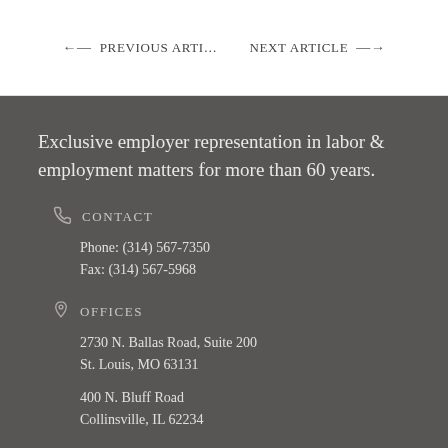← PREVIOUS ARTI…   NEXT ARTICLE →
Exclusive employer representation in labor & employment matters for more than 60 years.
CONTACT
Phone: (314) 567-7350
Fax: (314) 567-5968
OFFICES
2730 N. Ballas Road, Suite 200
St. Louis, MO 63131

400 N. Bluff Road
Collinsville, IL 62234